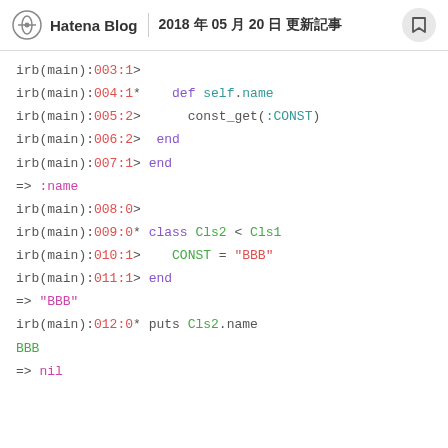Hatena Blog | 2018年05月20日 更新
[Figure (screenshot): IRB Ruby interactive session showing class definition with const_get and class inheritance]